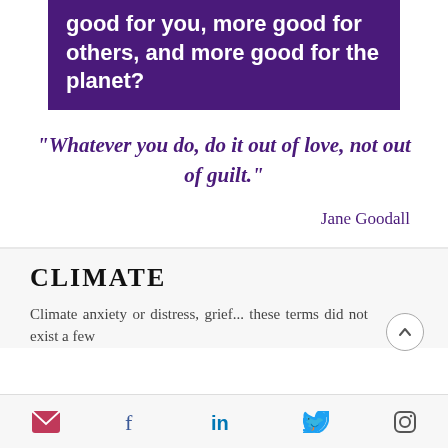good for you, more good for others, and more good for the planet?
"Whatever you do, do it out of love, not out of guilt."
Jane Goodall
CLIMATE
Climate anxiety or distress, grief... these terms did not exist a few